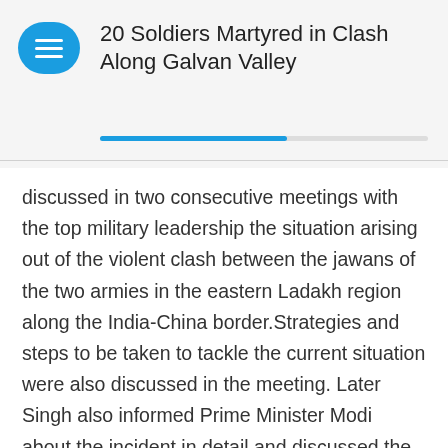20 Soldiers Martyred in Clash Along Galvan Valley
discussed in two consecutive meetings with the top military leadership the situation arising out of the violent clash between the jawans of the two armies in the eastern Ladakh region along the India-China border.Strategies and steps to be taken to tackle the current situation were also discussed in the meeting. Later Singh also informed Prime Minister Modi about the incident in detail and discussed the current situation with him as well.
The Defense Minister then once again called